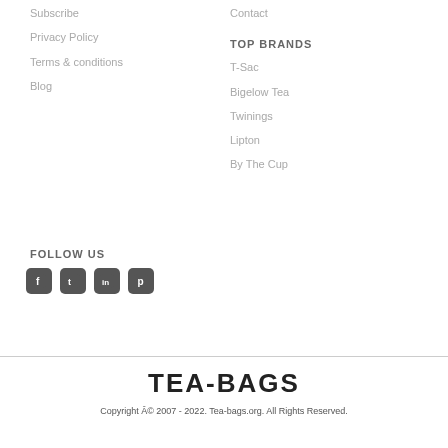Subscribe
Contact
Privacy Policy
TOP BRANDS
Terms & conditions
T-Sac
Blog
Bigelow Tea
Twinings
Lipton
By The Cup
FOLLOW US
[Figure (other): Social media icons: Facebook, Twitter, LinkedIn, Pinterest]
TEA-BAGS
Copyright © 2007 - 2022. Tea-bags.org. All Rights Reserved.